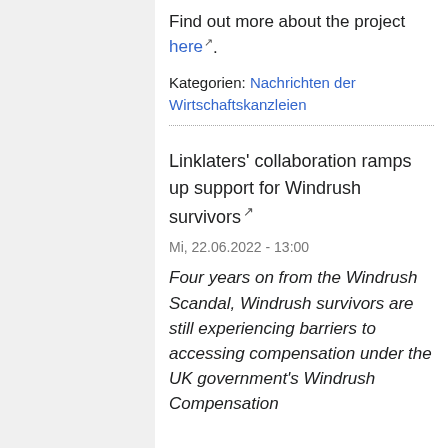Find out more about the project here.
Kategorien: Nachrichten der Wirtschaftskanzleien
Linklaters' collaboration ramps up support for Windrush survivors
Mi, 22.06.2022 - 13:00
Four years on from the Windrush Scandal, Windrush survivors are still experiencing barriers to accessing compensation under the UK government's Windrush Compensation...